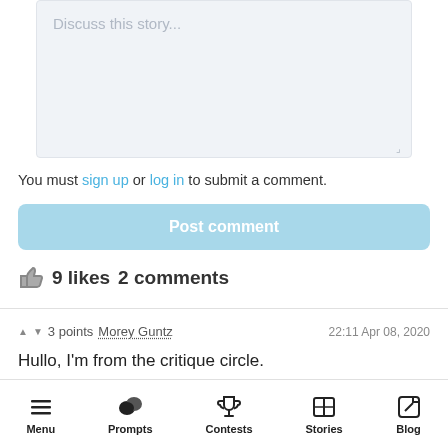[Figure (screenshot): Text area input box with placeholder text 'Discuss this story...' and a resize handle in the bottom-right corner]
You must sign up or log in to submit a comment.
Post comment
9 likes  2 comments
3 points  Morey Guntz  22:11 Apr 08, 2020
Hullo, I'm from the critique circle.
Menu  Prompts  Contests  Stories  Blog